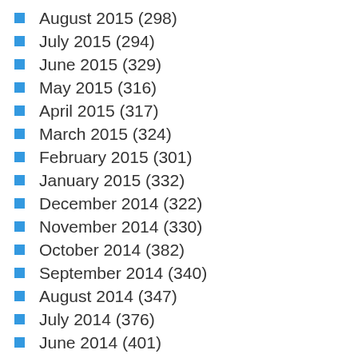August 2015 (298)
July 2015 (294)
June 2015 (329)
May 2015 (316)
April 2015 (317)
March 2015 (324)
February 2015 (301)
January 2015 (332)
December 2014 (322)
November 2014 (330)
October 2014 (382)
September 2014 (340)
August 2014 (347)
July 2014 (376)
June 2014 (401)